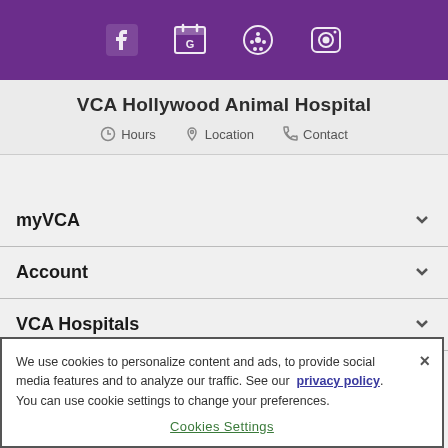[Figure (other): Purple header bar with social media icons: Facebook, Google, Yelp, Instagram]
VCA Hollywood Animal Hospital
Hours   Location   Contact
myVCA
Account
VCA Hospitals
We use cookies to personalize content and ads, to provide social media features and to analyze our traffic. See our privacy policy. You can use cookie settings to change your preferences.
Cookies Settings